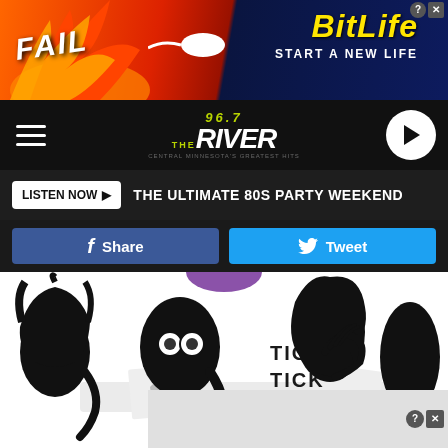[Figure (screenshot): BitLife advertisement banner with red/orange fire background, 'FAIL' text, cartoon woman, and BitLife logo with 'START A NEW LIFE' text on dark blue background]
[Figure (screenshot): 96.7 The River radio station navigation bar with hamburger menu, station logo, and play button]
LISTEN NOW ▶  THE ULTIMATE 80S PARTY WEEKEND
[Figure (screenshot): Share and Tweet buttons row]
[Figure (illustration): Black and white cartoon illustration of animated characters playing a board game at a table. Text in the image reads 'TICK TICK STOP!' in purple/black lettering. Characters include various stylized people around a game table.]
[Figure (screenshot): Bottom advertisement placeholder with help and close buttons]